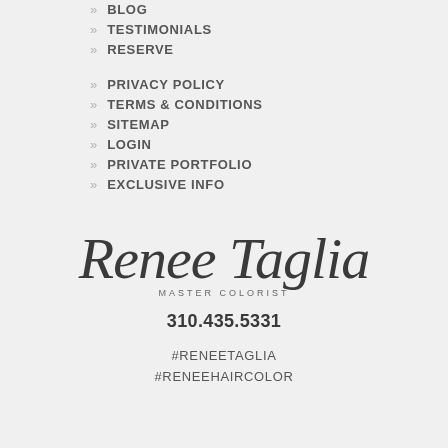» BLOG
» TESTIMONIALS
» RESERVE
» PRIVACY POLICY
» TERMS & CONDITIONS
» SITEMAP
» LOGIN
» PRIVATE PORTFOLIO
» EXCLUSIVE INFO
[Figure (logo): Renee Taglia Master Colorist script logo]
310.435.5331
#RENEETAGLIA
#RENEEHAIRCOLOR